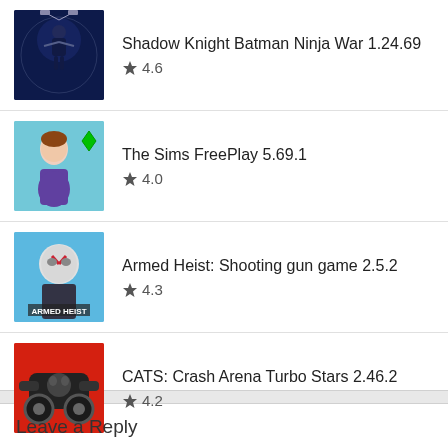Shadow Knight Batman Ninja War 1.24.69 ★ 4.6
The Sims FreePlay 5.69.1 ★ 4.0
Armed Heist: Shooting gun game 2.5.2 ★ 4.3
CATS: Crash Arena Turbo Stars 2.46.2 ★ 4.2
Leave a Reply